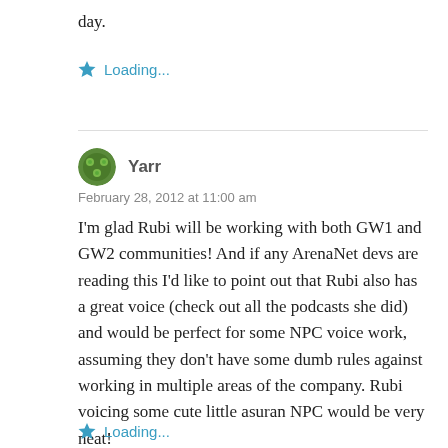day.
Loading...
Yarr
February 28, 2012 at 11:00 am
I'm glad Rubi will be working with both GW1 and GW2 communities! And if any ArenaNet devs are reading this I'd like to point out that Rubi also has a great voice (check out all the podcasts she did) and would be perfect for some NPC voice work, assuming they don't have some dumb rules against working in multiple areas of the company. Rubi voicing some cute little asuran NPC would be very neat!
Loading...